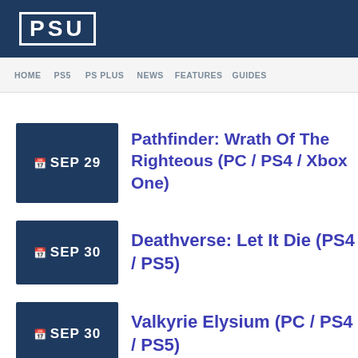PSU
HOME  PS5  PS PLUS  NEWS  FEATURES  GUIDES
SEP 29 — Pathfinder: Wrath Of The Righteous (PC / PS4 / Xbox One)
SEP 30 — Deathverse: Let It Die (PS4 / PS5)
SEP 30 — Valkyrie Elysium (PC / PS4 / PS5)
SEP 30 — (partial, cut off)